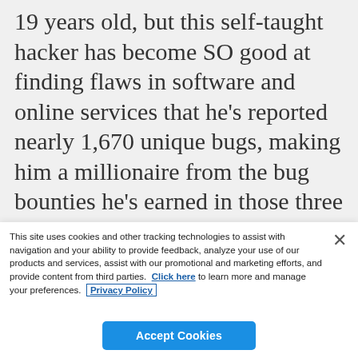19 years old, but this self-taught hacker has become SO good at finding flaws in software and online services that he's reported nearly 1,670 unique bugs, making him a millionaire from the bug bounties he's earned in those three years of white-hat hacking. Working now as a full-time hacker
This site uses cookies and other tracking technologies to assist with navigation and your ability to provide feedback, analyze your use of our products and services, assist with our promotional and marketing efforts, and provide content from third parties.  Click here to learn more and manage your preferences.  Privacy Policy
Accept Cookies